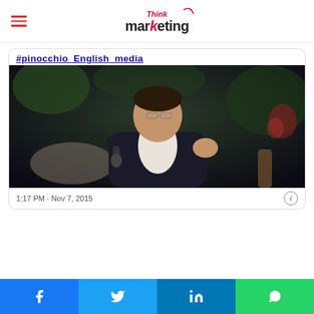Think marketing
#pinocchio_English_media
[Figure (photo): A man in a dark suit sitting in a chair, holding a microphone, gesturing with his hand, in what appears to be a TV interview setting with plants and furniture in the background.]
1:17 PM · Nov 7, 2015
Share buttons: Facebook, Twitter, LinkedIn, WhatsApp